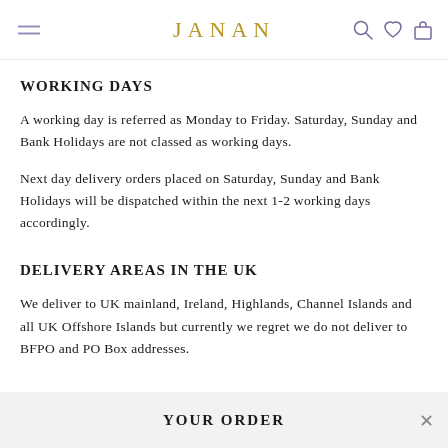JANAN
WORKING DAYS
A working day is referred as Monday to Friday. Saturday, Sunday and Bank Holidays are not classed as working days.
Next day delivery orders placed on Saturday, Sunday and Bank Holidays will be dispatched within the next 1-2 working days accordingly.
DELIVERY AREAS IN THE UK
We deliver to UK mainland, Ireland, Highlands, Channel Islands and all UK Offshore Islands but currently we regret we do not deliver to BFPO and PO Box addresses.
YOUR ORDER